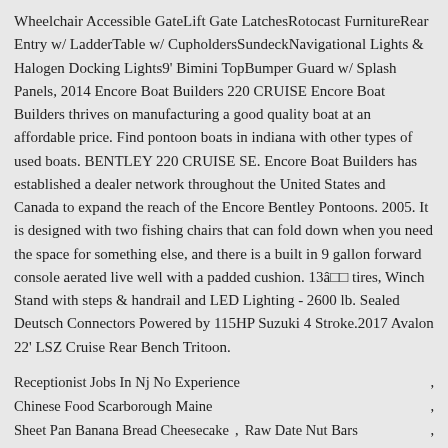Wheelchair Accessible GateLift Gate LatchesRotocast FurnitureRear Entry w/ LadderTable w/ CupholdersSundeckNavigational Lights & Halogen Docking Lights9' Bimini TopBumper Guard w/ Splash Panels, 2014 Encore Boat Builders 220 CRUISE Encore Boat Builders thrives on manufacturing a good quality boat at an affordable price. Find pontoon boats in indiana with other types of used boats. BENTLEY 220 CRUISE SE. Encore Boat Builders has established a dealer network throughout the United States and Canada to expand the reach of the Encore Bentley Pontoons. 2005. It is designed with two fishing chairs that can fold down when you need the space for something else, and there is a built in 9 gallon forward console aerated live well with a padded cushion. 13â□□ tires, Winch Stand with steps & handrail and LED Lighting - 2600 lb. Sealed Deutsch Connectors Powered by 115HP Suzuki 4 Stroke.2017 Avalon 22' LSZ Cruise Rear Bench Tritoon.
Receptionist Jobs In Nj No Experience
Chinese Food Scarborough Maine
Sheet Pan Banana Bread Cheesecake , Raw Date Nut Bars
Catholic School Teacher Aide Salary
Hp Printer Drivers For Windows 10
Screamin' Sicilian Pizza Pepperoni , Best Banana Flavoring
Collar Clip Manufacturer , Slice Of Bread Calories